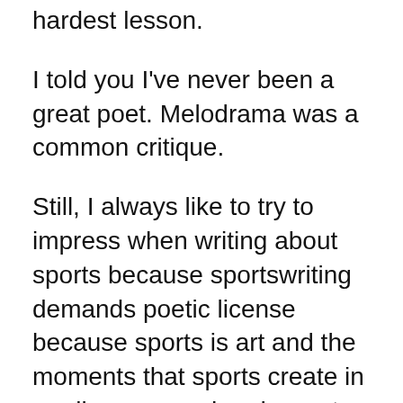hardest lesson.
I told you I've never been a great poet. Melodrama was a common critique.
Still, I always like to try to impress when writing about sports because sportswriting demands poetic license because sports is art and the moments that sports create in our lives are sad and sweet and complete all their own but a simple, "sorry, you had to be there," just never seems to cut it. Sure, science and technology and engineering and mathematics always enhance athletic performance and understanding of expectations and help with decision making but, to those of us who like sports for the romance of an athletic tale,